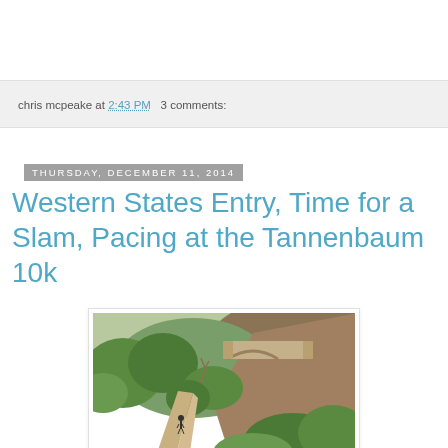chris mcpeake at 2:43 PM   3 comments:
Thursday, December 11, 2014
Western States Entry, Time for a Slam, Pacing at the Tannenbaum 10k
[Figure (photo): Outdoor trail photo showing a dirt path winding up a hillside with green shrubs and trees, and a stone arch bridge visible in the background on a rocky hillside.]